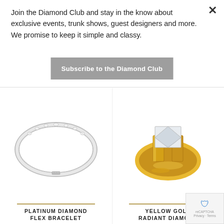Join the Diamond Club and stay in the know about exclusive events, trunk shows, guest designers and more. We promise to keep it simple and classy.
Subscribe to the Diamond Club
[Figure (photo): Silver/platinum diamond flex bracelet ring on white background]
[Figure (photo): Yellow gold radiant diamond engagement ring on white background]
PLATINUM DIAMOND FLEX BRACELET
YELLOW GOLD RADIANT DIAMOND